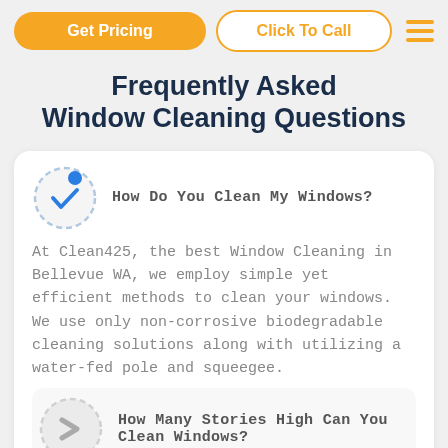Get Pricing | Click To Call
Frequently Asked Window Cleaning Questions
How Do You Clean My Windows?
At Clean425, the best Window Cleaning in Bellevue WA, we employ simple yet efficient methods to clean your windows. We use only non-corrosive biodegradable cleaning solutions along with utilizing a water-fed pole and squeegee.
How Many Stories High Can You Clean Windows?